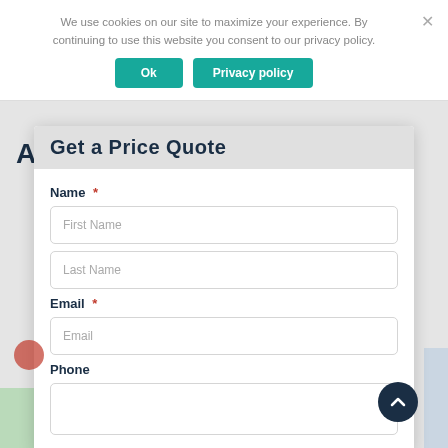We use cookies on our site to maximize your experience. By continuing to use this website you consent to our privacy policy.
Get a Price Quote
Name *
First Name
Last Name
Email *
Email
Phone